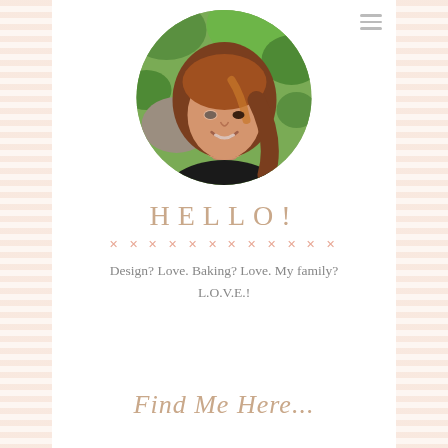[Figure (photo): Circular profile photo of a smiling woman with long reddish-brown hair, wearing a black top with a necklace, against a green leafy background]
HELLO!
Design? Love. Baking? Love. My family? L.O.V.E.!
Find Me Here...